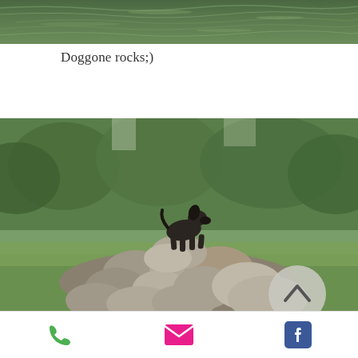[Figure (photo): Close-up photo of rippling green water surface, partially cropped at top of page]
Doggone rocks;)
[Figure (photo): A dark dog standing on top of a large pile of gray boulders/rocks in a grassy area with green trees in the background. A circular back-to-top button with a chevron is overlaid in the bottom-right corner of the photo.]
Here’s a rockin’ reflection:)
Phone | Email | Facebook